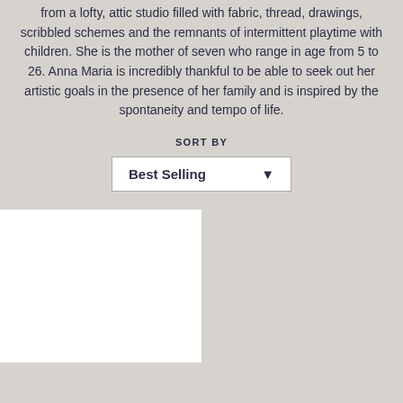from a lofty, attic studio filled with fabric, thread, drawings, scribbled schemes and the remnants of intermittent playtime with children. She is the mother of seven who range in age from 5 to 26. Anna Maria is incredibly thankful to be able to seek out her artistic goals in the presence of her family and is inspired by the spontaneity and tempo of life.
SORT BY
Best Selling
[Figure (screenshot): Two white product card placeholders side by side with a 'Chat with us' button on the right card]